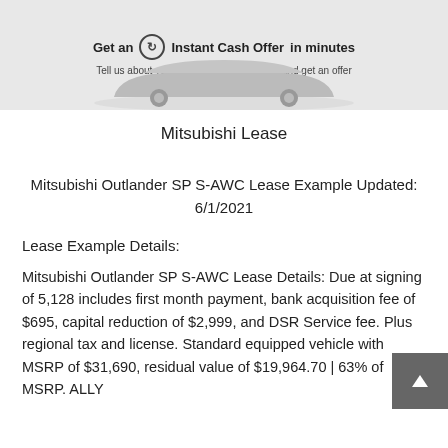[Figure (screenshot): Banner with car silhouette, 'Get an Instant Cash Offer in minutes' text and 'Tell us about your car in a few easy steps and get an offer' subtitle]
Mitsubishi Lease
Mitsubishi Outlander SP S-AWC Lease Example Updated: 6/1/2021
Lease Example Details:
Mitsubishi Outlander SP S-AWC Lease Details: Due at signing of 5,128 includes first month payment, bank acquisition fee of $695, capital reduction of $2,999, and DSR Service fee. Plus regional tax and license. Standard equipped vehicle with MSRP of $31,690, residual value of $19,964.70 | 63% of MSRP. ALLY